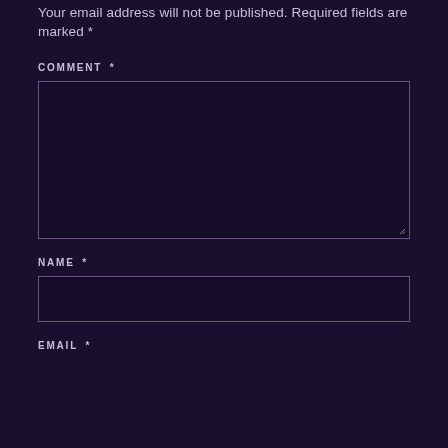Your email address will not be published. Required fields are marked *
COMMENT *
[Figure (screenshot): Large comment text area input box with dark background and purple border, with resize handle at bottom right]
NAME *
[Figure (screenshot): Single-line name input box with dark background and purple border]
EMAIL *